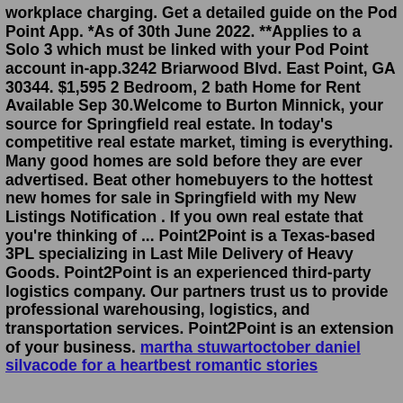workplace charging. Get a detailed guide on the Pod Point App. *As of 30th June 2022. **Applies to a Solo 3 which must be linked with your Pod Point account in-app.3242 Briarwood Blvd. East Point, GA 30344. $1,595 2 Bedroom, 2 bath Home for Rent Available Sep 30.Welcome to Burton Minnick, your source for Springfield real estate. In today's competitive real estate market, timing is everything. Many good homes are sold before they are ever advertised. Beat other homebuyers to the hottest new homes for sale in Springfield with my New Listings Notification . If you own real estate that you're thinking of ... Point2Point is a Texas-based 3PL specializing in Last Mile Delivery of Heavy Goods. Point2Point is an experienced third-party logistics company. Our partners trust us to provide professional warehousing, logistics, and transportation services. Point2Point is an extension of your business. martha stuwartoctober daniel silvacode for a heartbest romantic stories